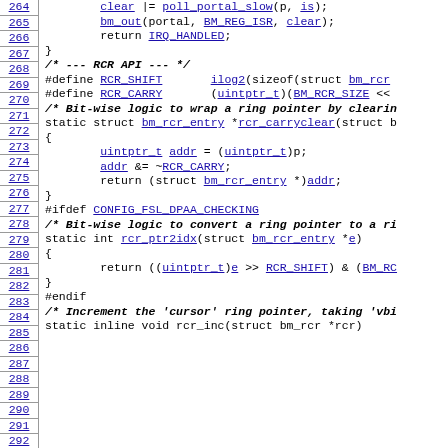Source code listing lines 264-294, showing C kernel driver code with RCR API definitions and ring pointer manipulation functions.